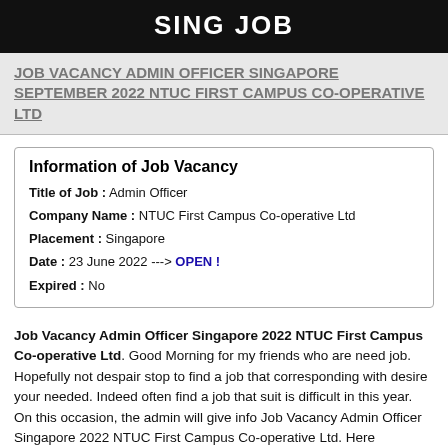SING JOB
JOB VACANCY ADMIN OFFICER SINGAPORE SEPTEMBER 2022 NTUC FIRST CAMPUS CO-OPERATIVE LTD
| Title of Job : | Admin Officer |
| Company Name : | NTUC First Campus Co-operative Ltd |
| Placement : | Singapore |
| Date : | 23 June 2022 ---> OPEN ! |
| Expired : | No |
Job Vacancy Admin Officer Singapore 2022 NTUC First Campus Co-operative Ltd. Good Morning for my friends who are need job. Hopefully not despair stop to find a job that corresponding with desire your needed. Indeed often find a job that suit is difficult in this year. On this occasion, the admin will give info Job Vacancy Admin Officer Singapore 2022 NTUC First Campus Co-operative Ltd. Here information more detail about Job Vacancy Admin Officer Singapore 2022 NTUC First Campus Co-operative Ltd.